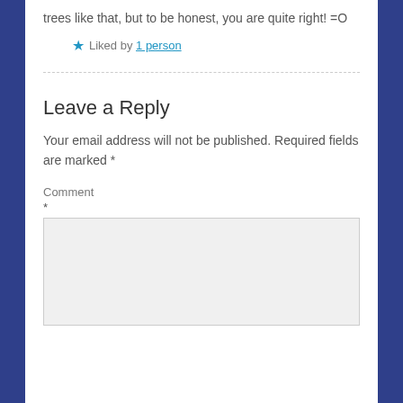trees like that, but to be honest, you are quite right! =O
★ Liked by 1 person
Leave a Reply
Your email address will not be published. Required fields are marked *
Comment
*